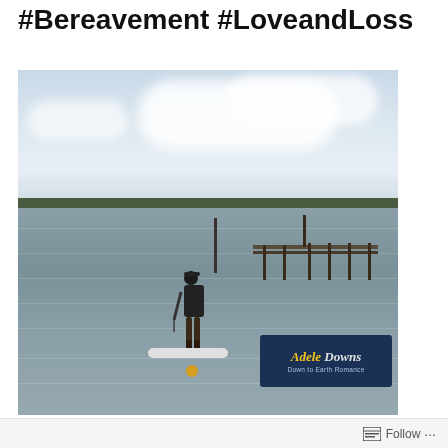#Bereavement #LoveandLoss
[Figure (photo): Person standing on a paddleboard in calm water near a dock/pier, viewed from behind. Cloudy sky and treeline visible on horizon. An 'Adele Downs Down to Earth Romance' logo watermark appears in the lower right of the image.]
Follow ...